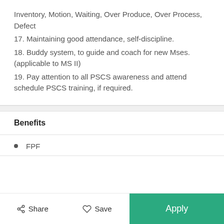Inventory, Motion, Waiting, Over Produce, Over Process, Defect
17. Maintaining good attendance, self-discipline.
18. Buddy system, to guide and coach for new Mses. (applicable to MS II)
19. Pay attention to all PSCS awareness and attend schedule PSCS training, if required.
Benefits
FPF